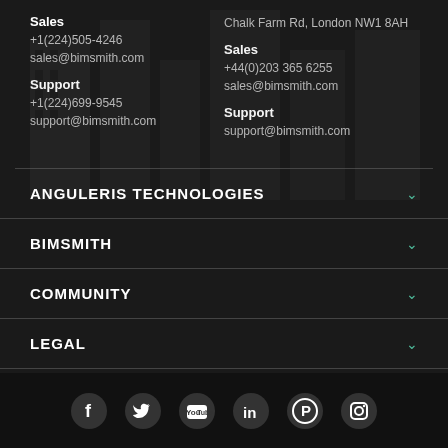Sales
+1(224)505-4246
sales@bimsmith.com

Support
+1(224)699-9545
support@bimsmith.com
Chalk Farm Rd, London NW1 8AH

Sales
+44(0)203 365 6255
sales@bimsmith.com

Support
support@bimsmith.com
ANGULERIS TECHNOLOGIES
BIMSMITH
COMMUNITY
LEGAL
TOP CATEGORIES
[Figure (other): Social media icons: Facebook, Twitter, YouTube, LinkedIn, Pinterest, Instagram]